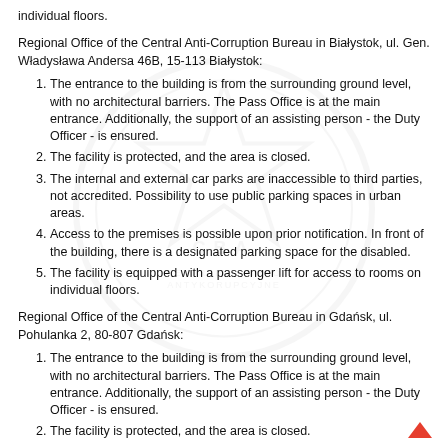individual floors.
Regional Office of the Central Anti-Corruption Bureau in Białystok, ul. Gen. Władysława Andersa 46B, 15-113 Białystok:
The entrance to the building is from the surrounding ground level, with no architectural barriers. The Pass Office is at the main entrance. Additionally, the support of an assisting person - the Duty Officer - is ensured.
The facility is protected, and the area is closed.
The internal and external car parks are inaccessible to third parties, not accredited. Possibility to use public parking spaces in urban areas.
Access to the premises is possible upon prior notification. In front of the building, there is a designated parking space for the disabled.
The facility is equipped with a passenger lift for access to rooms on individual floors.
Regional Office of the Central Anti-Corruption Bureau in Gdańsk, ul. Pohulanka 2, 80-807 Gdańsk:
The entrance to the building is from the surrounding ground level, with no architectural barriers. The Pass Office is at the main entrance. Additionally, the support of an assisting person - the Duty Officer - is ensured.
The facility is protected, and the area is closed.
The internal and external car parks are inaccessible to third parties, not accredited. Possibility to use public parking spaces in urban areas.
Access to the premises is possible upon prior notification. In front of the building, there is a designated parking space for the disabled.
The facility is equipped with a passenger lift for access to rooms on individual floors.